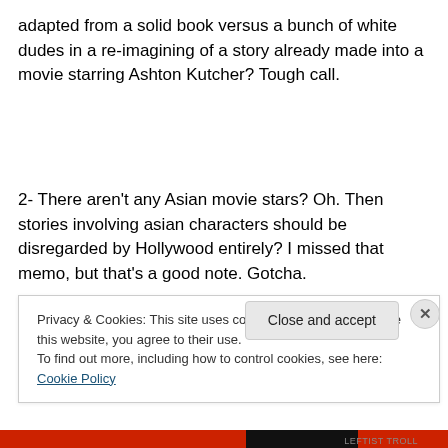adapted from a solid book versus a bunch of white dudes in a re-imagining of a story already made into a movie starring Ashton Kutcher? Tough call.
2- There aren't any Asian movie stars? Oh. Then stories involving asian characters should be disregarded by Hollywood entirely? I missed that memo, but that's a good note. Gotcha.
Privacy & Cookies: This site uses cookies. By continuing to use this website, you agree to their use.
To find out more, including how to control cookies, see here: Cookie Policy